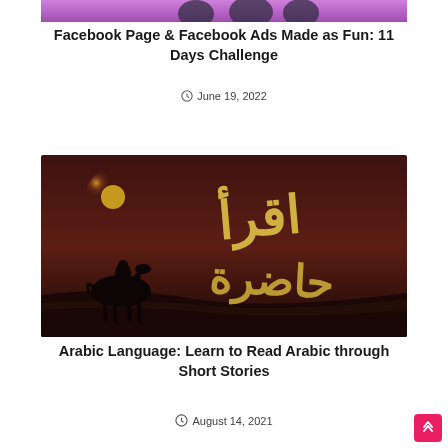[Figure (photo): Cropped top portion of an image showing people on a purple/pink background]
Facebook Page & Facebook Ads Made as Fun: 11 Days Challenge
June 19, 2022
[Figure (photo): Dark reddish-brown image with a silhouette of a horse and rider against a moonlit sky, featuring golden Arabic calligraphy text]
Arabic Language: Learn to Read Arabic through Short Stories
August 14, 2021